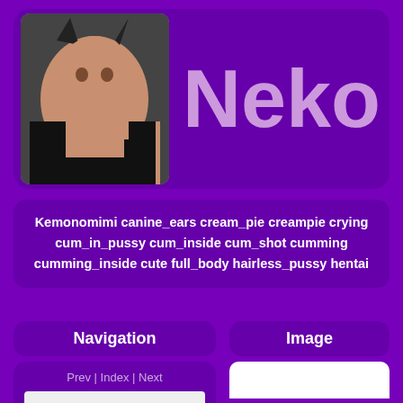[Figure (illustration): Anime cat-girl character illustration with dark hair and cat ears on purple background next to large text 'Neko']
Neko
Kemonomimi canine_ears cream_pie creampie crying cum_in_pussy cum_inside cum_shot cumming cumming_inside cute full_body hairless_pussy hentai
Navigation
Image
Prev | Index | Next
Find